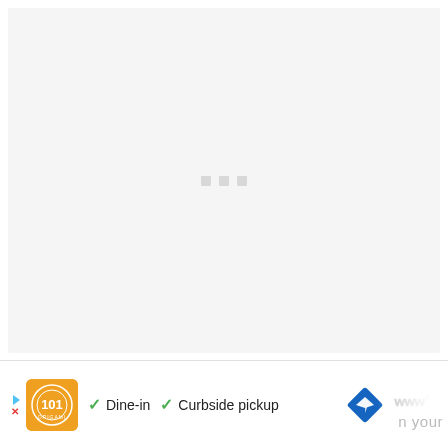[Figure (screenshot): A mostly blank light gray content area with three small gray loading dots centered, indicating a loading/pending state in a web or app interface.]
[Figure (infographic): Advertisement bar at bottom showing a restaurant logo (orange square with decorative circular text design), checkmark icons with 'Dine-in' and 'Curbside pickup' text, a blue diamond navigation icon, and partial Waze app icon with text 'n your'.]